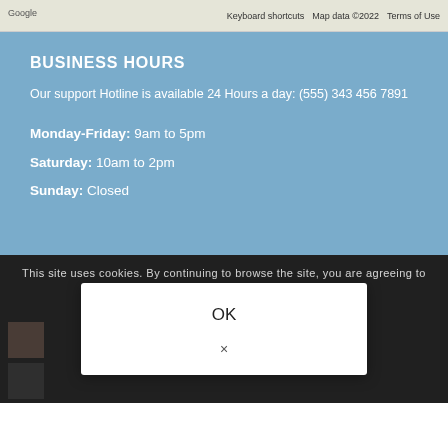[Figure (screenshot): Google Maps strip showing map labels and attribution bar with 'Keyboard shortcuts', 'Map data ©2022', 'Terms of Use']
BUSINESS HOURS
Our support Hotline is available 24 Hours a day: (555) 343 456 7891
Monday-Friday: 9am to 5pm
Saturday: 10am to 2pm
Sunday: Closed
This site uses cookies. By continuing to browse the site, you are agreeing to our use of cookies.
[Figure (screenshot): Cookie consent modal dialog with OK button and close (x) button]